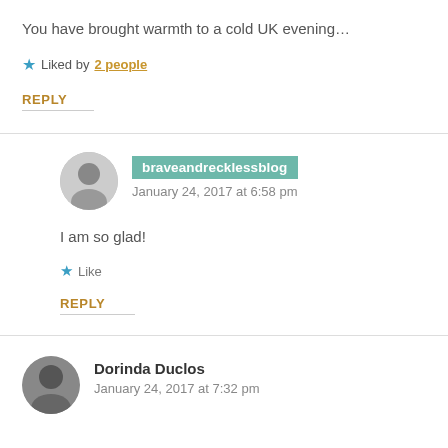You have brought warmth to a cold UK evening…
Liked by 2 people
REPLY
braveandrecklessblog
January 24, 2017 at 6:58 pm
I am so glad!
Like
REPLY
Dorinda Duclos
January 24, 2017 at 7:32 pm